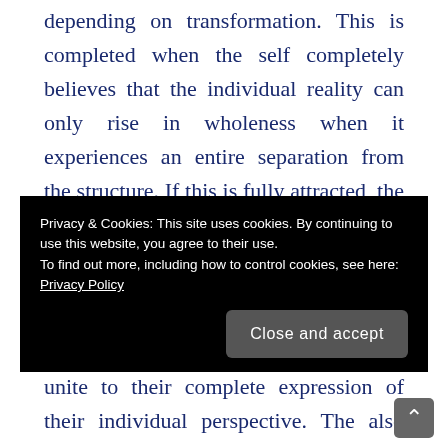depending on transformation. This is completed when the self completely believes that the individual reality can only rise in wholeness when it experiences an entire separation from the structure. If this is fully attracted, the cosmic consciousness will lift the veil that hides the true sense of the diversity of the individual consciousness.
Privacy & Cookies: This site uses cookies. By continuing to use this website, you agree to their use.
To find out more, including how to control cookies, see here: Privacy Policy
Close and accept
unite to their complete expression of their individual perspective. The also currently